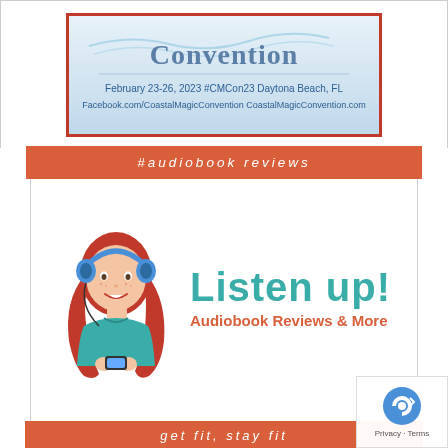[Figure (illustration): Coastal Magic Convention banner image showing convention logo with text 'Convention', date 'February 23-26, 2023', '#CMCon23', 'Daytona Beach, FL', 'Facebook.com/CoastalMagicConvention', 'CoastalMagicConvention.com', with blue/teal wavy design, inside red border]
#audiobook reviews
[Figure (logo): Listen up! Audiobook Reviews & More logo — cartoon girl with red hair and blue headphones on left, teal 'Listen up!' large text and coral 'Audiobook Reviews & More' subtitle on right]
get fit, stay fit